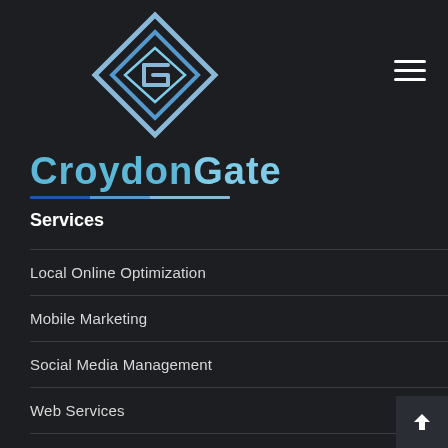[Figure (logo): CroydonGate logo with diamond-shaped icon containing stylized G letter and 'CroydonGate' brand name in blue text with underline]
Services
Local Online Optimization
Mobile Marketing
Social Media Management
Web Services
Pay-Per-New-Client Program for Businesses